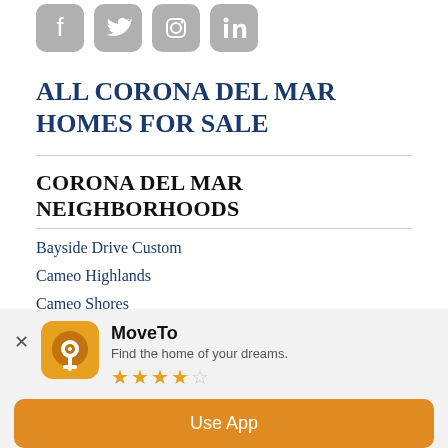[Figure (illustration): Four social media icons in gray: Facebook, Twitter, Instagram, LinkedIn]
ALL CORONA DEL MAR HOMES FOR SALE
CORONA DEL MAR NEIGHBORHOODS
Bayside Drive Custom
Cameo Highlands
Cameo Shores
Canyon Cove Condos
Canyon Crest
[Figure (screenshot): MoveTo app banner overlay with app icon, name 'MoveTo', tagline 'Find the home of your dreams.', 3.5 star rating, and 'Use App' button]